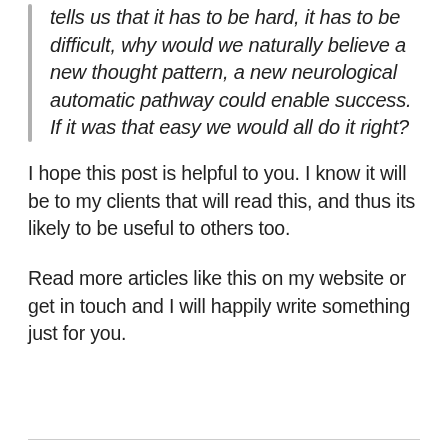tells us that it has to be hard, it has to be difficult, why would we naturally believe a new thought pattern, a new neurological automatic pathway could enable success. If it was that easy we would all do it right?
I hope this post is helpful to you. I know it will be to my clients that will read this, and thus its likely to be useful to others too.
Read more articles like this on my website or get in touch and I will happily write something just for you.